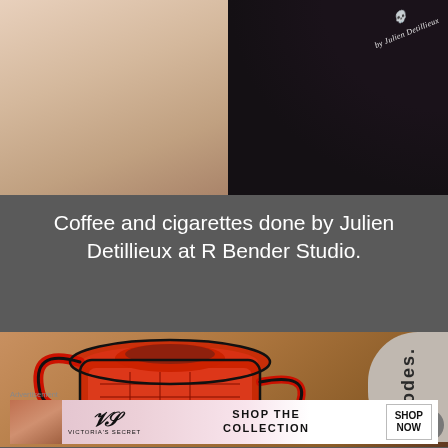[Figure (photo): Close-up photo of a person's neck/collarbone area showing a tattoo, with a dark shirt visible on the right side featuring a skull logo and text 'by Julien Detillieux']
Coffee and cigarettes done by Julien Detillieux at R Bender Studio.
[Figure (photo): Photo of a tattoo on a foot/hand showing a red coffee percolator pot design in traditional tattoo style, with a partial circular logo reading 'rhodes.' visible on the right side]
[Figure (photo): Advertisement banner for Victoria's Secret showing a model and text 'SHOP THE COLLECTION' with a 'SHOP NOW' button]